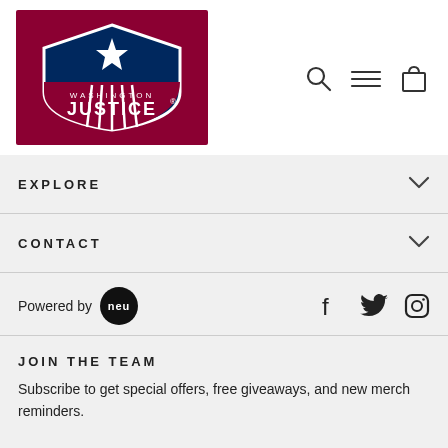[Figure (logo): Washington Justice esports team logo - dark red/maroon background with shield containing a star and WJ initials, text 'WASHINGTON JUSTICE' below]
[Figure (screenshot): Navigation icons: search (magnifying glass), hamburger menu (three lines), shopping bag]
EXPLORE
CONTACT
Powered by NEU
[Figure (other): Social media icons: Facebook, Twitter, Instagram]
JOIN THE TEAM
Subscribe to get special offers, free giveaways, and new merch reminders.